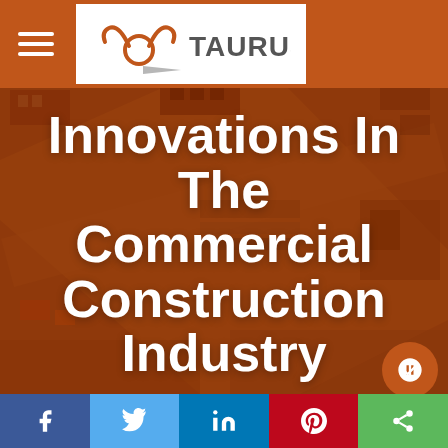Taurus — navigation header with hamburger menu and logo
[Figure (photo): Aerial view of a commercial construction site with orange-brown toned overlay, showing buildings, equipment, and infrastructure from above]
Innovations In The Commercial Construction Industry
[Figure (infographic): Social media share bar at the bottom with Facebook, Twitter, LinkedIn, Pinterest, and share buttons]